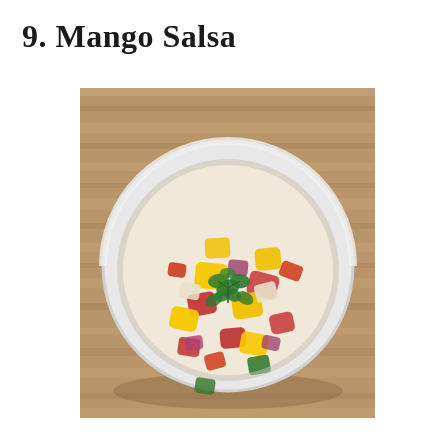9. Mango Salsa
[Figure (photo): Overhead view of a white bowl filled with mango salsa — diced yellow mango, tomato, red onion, avocado, red bell pepper, and fresh cilantro leaves on top — sitting on a wood-grain surface.]